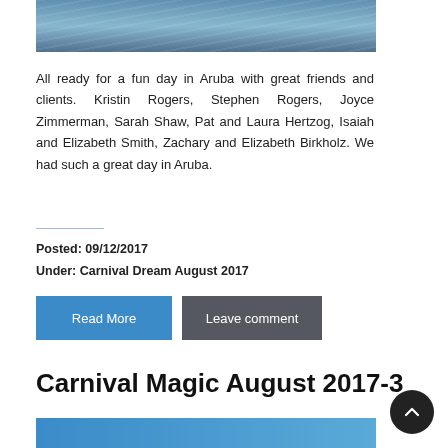[Figure (photo): Partial view of ocean/sea water with blue tones, cropped at top]
All ready for a fun day in Aruba with great friends and clients. Kristin Rogers, Stephen Rogers, Joyce Zimmerman, Sarah Shaw, Pat and Laura Hertzog, Isaiah and Elizabeth Smith, Zachary and Elizabeth Birkholz. We had such a great day in Aruba.
Posted: 09/12/2017
Under: Carnival Dream August 2017
Read More
Leave comment
Carnival Magic August 2017-3
[Figure (photo): Blue image, partial view at bottom of page]